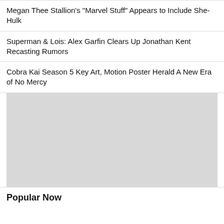Megan Thee Stallion's "Marvel Stuff" Appears to Include She-Hulk
Superman & Lois: Alex Garfin Clears Up Jonathan Kent Recasting Rumors
Cobra Kai Season 5 Key Art, Motion Poster Herald A New Era of No Mercy
[Figure (other): Gray placeholder advertisement or image block]
Popular Now